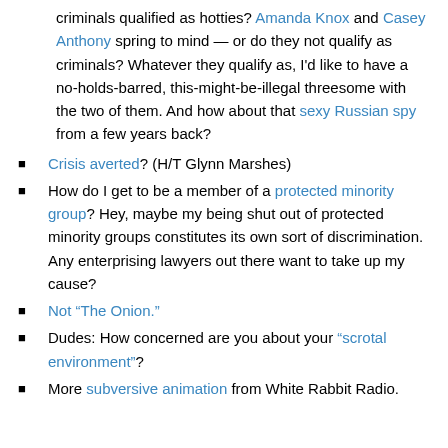criminals qualified as hotties? Amanda Knox and Casey Anthony spring to mind — or do they not qualify as criminals? Whatever they qualify as, I'd like to have a no-holds-barred, this-might-be-illegal threesome with the two of them. And how about that sexy Russian spy from a few years back?
Crisis averted? (H/T Glynn Marshes)
How do I get to be a member of a protected minority group? Hey, maybe my being shut out of protected minority groups constitutes its own sort of discrimination. Any enterprising lawyers out there want to take up my cause?
Not “The Onion.”
Dudes: How concerned are you about your “scrotal environment”?
More subversive animation from White Rabbit Radio.